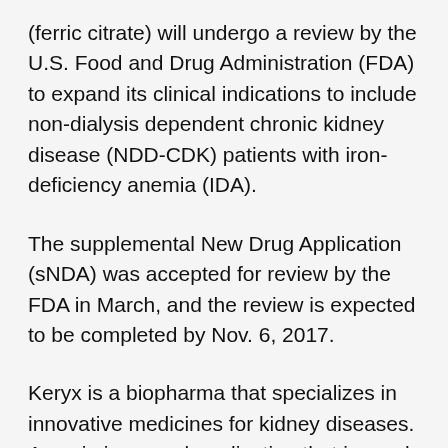(ferric citrate) will undergo a review by the U.S. Food and Drug Administration (FDA) to expand its clinical indications to include non-dialysis dependent chronic kidney disease (NDD-CDK) patients with iron-deficiency anemia (IDA).
The supplemental New Drug Application (sNDA) was accepted for review by the FDA in March, and the review is expected to be completed by Nov. 6, 2017.
Keryx is a biopharma that specializes in innovative medicines for kidney diseases. Auryxia is an oral medication that is used to control serum phosphorous levels. It is